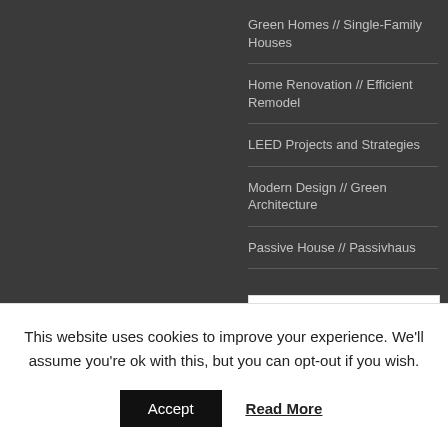Green Homes // Single-Family Houses
Home Renovation // Efficient Remodel
LEED Projects and Strategies
Modern Design // Green Architecture
Passive House // Passivhaus
[Figure (other): Advertisement box showing 'Aluminum Carport' with ad control icons]
This website uses cookies to improve your experience. We’ll assume you’re ok with this, but you can opt-out if you wish.
Accept   Read More